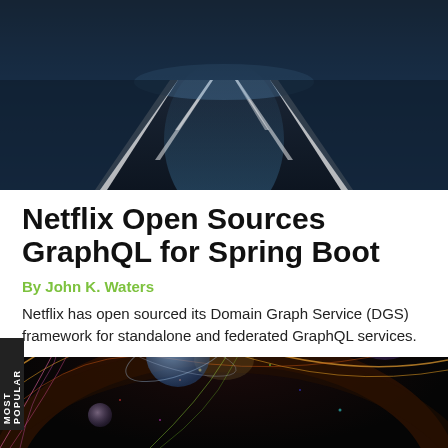[Figure (photo): Aerial view of a road at night with lane markings visible, dark blue tones with light streaks]
Netflix Open Sources GraphQL for Spring Boot
By John K. Waters
Netflix has open sourced its Domain Graph Service (DGS) framework for standalone and federated GraphQL services.
[Figure (photo): Abstract colorful network graph visualization with glowing nodes and curved lines on dark background, featuring blue and purple spheres]